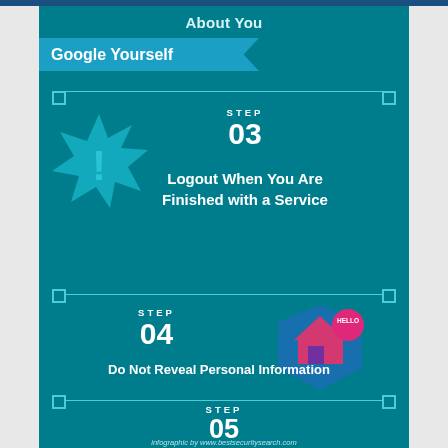About You
Google Yourself
STEP
03
Logout When You Are Finished with a Service
STEP
04
Do Not Reveal Personal Information
STEP
05
Be Careful with Your Social Media
infographic by www.bestsecuritysearch.com